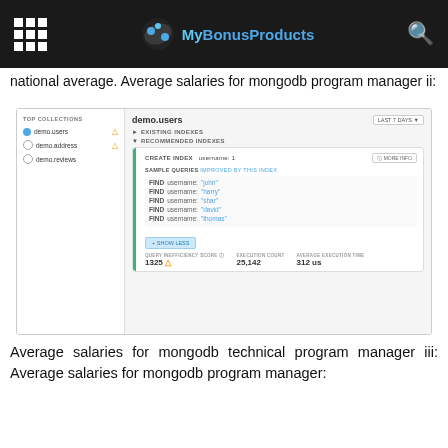MyBonusProducts
national average. Average salaries for mongodb program manager ii:
[Figure (screenshot): MongoDB Compass/Atlas UI screenshot showing TOP COLLECTIONS panel with demo.users, demo.address, demo.reviews listed on left. Right panel shows demo.users collection with EXISTING INDEXES and RECOMMENDED INDEXES sections. A recommended index shows CREATE INDEX username: 1 with MORE INFO button. SAMPLE QUERIES IMPROVED BY THIS INDEX section shows FIND queries for username: 'john', 'harry', 'shar', 'david', 'thomas'. Stats show QUERY INEFFICIENCY SCORE 1325, EXECUTION COUNT 25,142, AVERAGE EXECUTION TIME 312 us.]
Average salaries for mongodb technical program manager iii: Average salaries for mongodb program manager: